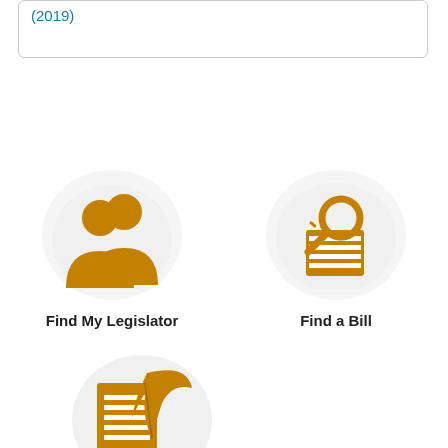(2019)
[Figure (illustration): Orange silhouette icon of two people (legislators) with circular background, labeled Find My Legislator]
Find My Legislator
[Figure (illustration): Orange icon of a magnifying glass over stacked documents with circular background, labeled Find a Bill]
Find a Bill
[Figure (illustration): Orange icon of a document with a quill/feather pen with circular background, partially visible at bottom of page]